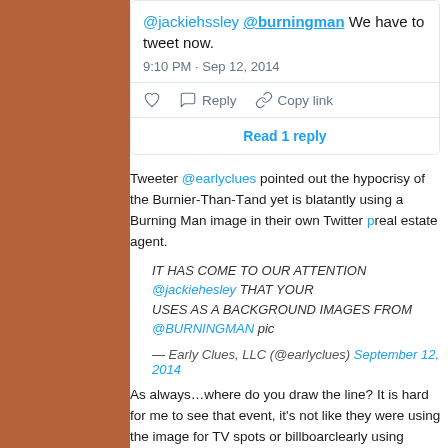[Figure (screenshot): Partial Twitter/X tweet screenshot showing a tweet timestamp of 9:10 PM Sep 12, 2014, with like, reply, copy link actions and a 'Read 1 reply' button.]
Tweeter @earlyclues pointed out the hypocrisy of the Burnier-Than-Thou crowd and yet is blatantly using a Burning Man image in their own Twitter p[rofile] real estate agent.
IT HAS COME TO OUR ATTENTION @jackiehesley THAT YOUR [TWITTER] USES AS A BACKGROUND IMAGES FROM @BURNINGMAN pic[...]
— Early Clues, LLC (@earlyclues) September 12, 2014
As always…where do you draw the line? It is hard for me to see that event, it's not like they were using the image for TV spots or billboards clearly using imagery from Burning Man for self-promotion. It's their p[olicy] is good, and Lyft was bad?